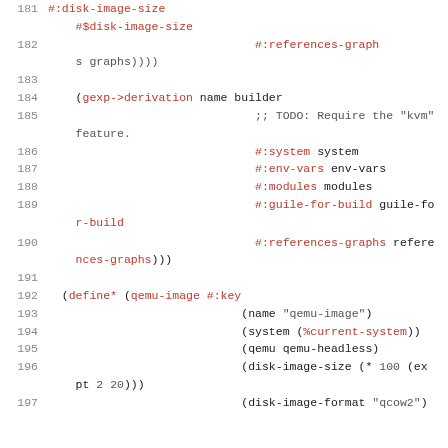181 #:disk-image-size
#$disk-image-size
182 #:references-graph
s graphs))))
183
184 (gexp->derivation name builder
185 ;; TODO: Require the "kvm"
feature.
186 #:system system
187 #:env-vars env-vars
188 #:modules modules
189 #:guile-for-build guile-fo
r-build
190 #:references-graphs refere
nces-graphs)))
191
192 (define* (qemu-image #:key
193 (name "qemu-image")
194 (system (%current-system))
195 (qemu qemu-headless)
196 (disk-image-size (* 100 (ex
pt 2 20)))
197 (disk-image-format "qcow2")